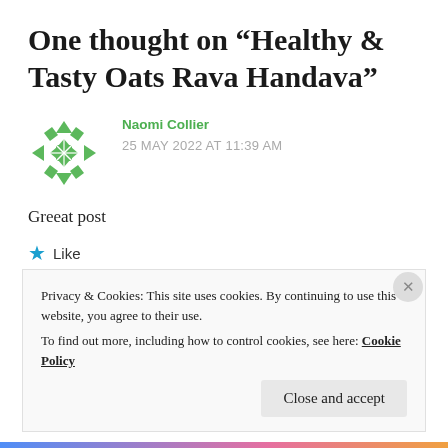One thought on “Healthy & Tasty Oats Rava Handava”
Naomi Collier
25 MAY 2022 AT 11:39 AM
Greeat post
★ Like
REPLY
Privacy & Cookies: This site uses cookies. By continuing to use this website, you agree to their use.
To find out more, including how to control cookies, see here: Cookie Policy
Close and accept